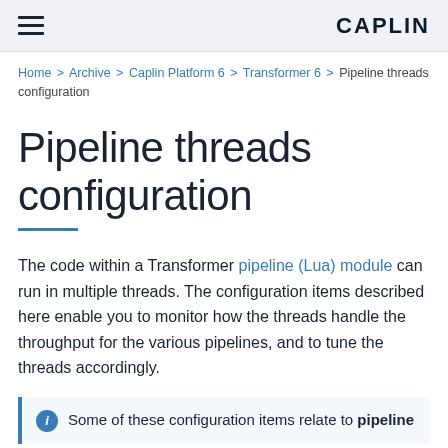CAPLIN
Home > Archive > Caplin Platform 6 > Transformer 6 > Pipeline threads configuration
Pipeline threads configuration
The code within a Transformer pipeline (Lua) module can run in multiple threads. The configuration items described here enable you to monitor how the threads handle the throughput for the various pipelines, and to tune the threads accordingly.
Some of these configuration items relate to pipeline